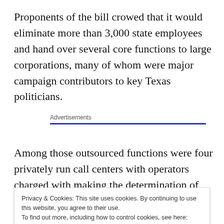Proponents of the bill crowed that it would eliminate more than 3,000 state employees and hand over several core functions to large corporations, many of whom were major campaign contributors to key Texas politicians.
Advertisements
Among those outsourced functions were four privately run call centers with operators charged with making the determination of which families would be eligible for state
Privacy & Cookies: This site uses cookies. By continuing to use this website, you agree to their use.
To find out more, including how to control cookies, see here: Cookie Policy